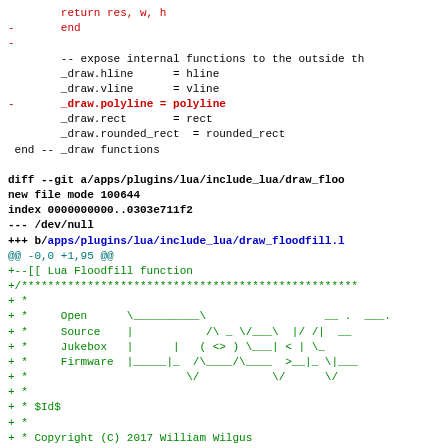Code diff showing Lua draw functions and floodfill file header with Open Source Jukebox Firmware ASCII art and copyright notice